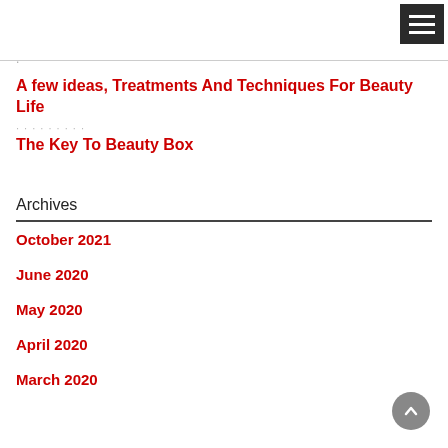[Figure (other): Hamburger menu button (three horizontal white lines on dark background) in top right corner]
.
A few ideas, Treatments And Techniques For Beauty Life
The Key To Beauty Box
Archives
October 2021
June 2020
May 2020
April 2020
March 2020